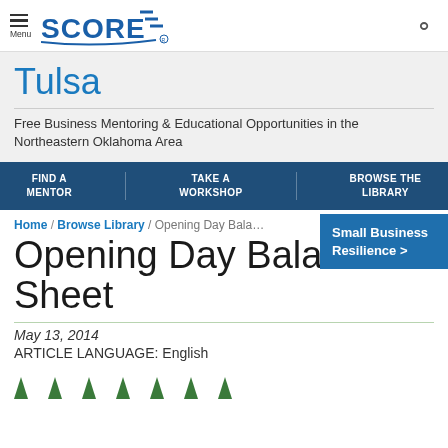Menu | SCORE
Tulsa
Free Business Mentoring & Educational Opportunities in the Northeastern Oklahoma Area
FIND A MENTOR | TAKE A WORKSHOP | BROWSE THE LIBRARY
Home / Browse Library / Opening Day Balance Sheet
Opening Day Balance Sheet
Small Business Resilience >
May 13, 2014
ARTICLE LANGUAGE: English